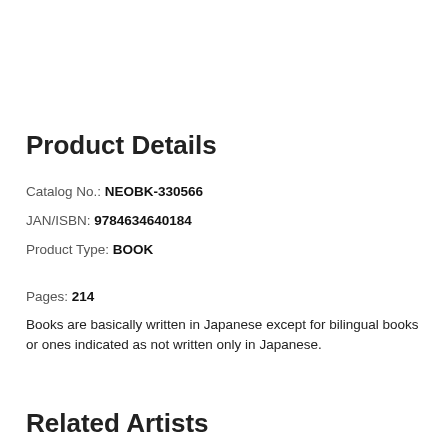Product Details
Catalog No.: NEOBK-330566
JAN/ISBN: 9784634640184
Product Type: BOOK
Pages: 214
Books are basically written in Japanese except for bilingual books or ones indicated as not written only in Japanese.
Related Artists